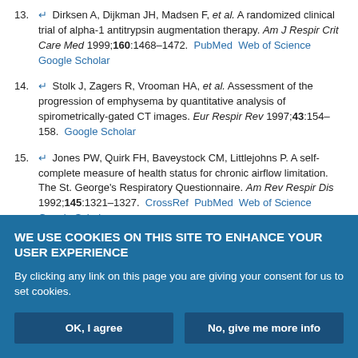13. ↵ Dirksen A, Dijkman JH, Madsen F, et al. A randomized clinical trial of alpha-1 antitrypsin augmentation therapy. Am J Respir Crit Care Med 1999;160:1468–1472. PubMed Web of Science Google Scholar
14. ↵ Stolk J, Zagers R, Vrooman HA, et al. Assessment of the progression of emphysema by quantitative analysis of spirometrically-gated CT images. Eur Respir Rev 1997;43:154–158. Google Scholar
15. ↵ Jones PW, Quirk FH, Baveystock CM, Littlejohns P. A self-complete measure of health status for chronic airflow limitation. The St. George's Respiratory Questionnaire. Am Rev Respir Dis 1992;145:1321–1327. CrossRef PubMed Web of Science Google Scholar
16. ↵ Ketelaars CA, Schlosser MA, Mostert R, Huyer Abu-Saad H, Halfens RJG, Wouters EF. Determinants of health-related quality of life in patients
WE USE COOKIES ON THIS SITE TO ENHANCE YOUR USER EXPERIENCE
By clicking any link on this page you are giving your consent for us to set cookies.
OK, I agree | No, give me more info